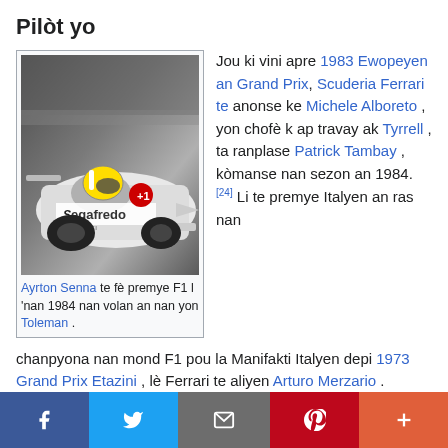Pilòt yo
[Figure (photo): Ayrton Senna driving a Toleman Formula 1 car, wearing yellow helmet, with Segafredo Zanetti branding on the white car.]
Ayrton Senna te fè premye F1 l 'nan 1984 nan volan an nan yon Toleman .
Jou ki vini apre 1983 Ewopeyen an Grand Prix, Scuderia Ferrari te anonse ke Michele Alboreto , yon chofè k ap travay ak Tyrrell , ta ranplase Patrick Tambay , kòmanse nan sezon an 1984. [24] Li te premye Italyen an ras nan chanpyona nan mond F1 pou la Manifakti Italyen depi 1973 Grand Prix Etazini , lè Ferrari te aliyen Arturo Merzario . Tambay jwenn yon travay nan Renault , [25] kote li ranplase Alain Prost . Vis-chanpyon nan mond lan 1983 tounen nan McLaren , kote li te kouri an 1980 , men nan ki li te kite akòz move relasyon yo ak Teddy Mayer, patwon nan ekip la. Negosyasyon an te aplike tou
f  t  [email]  p  +